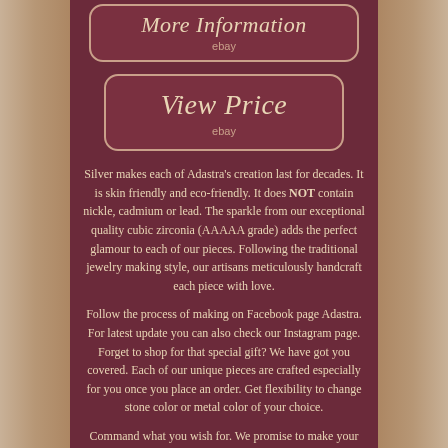[Figure (screenshot): More Information button with italic script text and 'ebay' subtitle, dark maroon rounded rectangle with pink border]
[Figure (screenshot): View Price button with italic script text and 'ebay' subtitle, dark maroon rounded rectangle with pink border]
Silver makes each of Adastra's creation last for decades. It is skin friendly and eco-friendly. It does NOT contain nickle, cadmium or lead. The sparkle from our exceptional quality cubic zirconia (AAAAA grade) adds the perfect glamour to each of our pieces. Following the traditional jewelry making style, our artisans meticulously handcraft each piece with love.
Follow the process of making on Facebook page Adastra. For latest update you can also check our Instagram page. Forget to shop for that special gift? We have got you covered. Each of our unique pieces are crafted especially for you once you place an order. Get flexibility to change stone color or metal color of your choice.
Command what you wish for. We promise to make your dreams come true. Create your own design or alter one of ours, we commit to give you one of a kind experience.